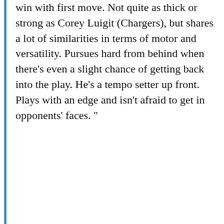win with first move. Not quite as thick or strong as Corey Luigit (Chargers), but shares a lot of similarities in terms of motor and versatility. Pursues hard from behind when there's even a slight chance of getting back into the play. He's a tempo setter up front. Plays with an edge and isn't afraid to get in opponents' faces. "
Check out the SB Nation Channel on YouTube
[Figure (screenshot): YouTube video thumbnail showing '2012 NFL Draft Grades Round 1: NF...' with NFC EAST ROUND 1 text overlay and NFL/Washington Redskins logos on a dark brown background.]